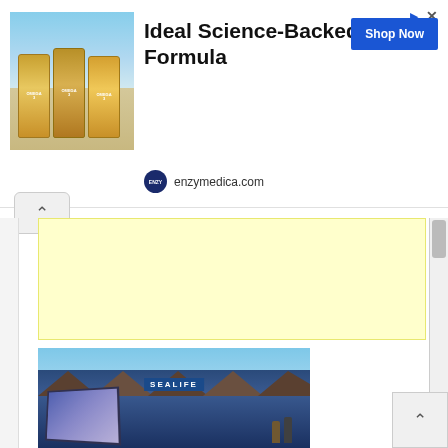[Figure (photo): Advertisement banner for Enzymedica omega-3 supplements showing product bottles on beach background with 'Ideal Science-Backed Formula' headline, 'Shop Now' button, and enzymedica.com domain]
[Figure (other): Yellow/light cream colored advertisement placeholder rectangle below a collapse/up-arrow button]
[Figure (photo): Photograph of a SEA LIFE aquarium building exterior with blue signage, angular architectural roof elements, an outdoor kiosk with digital display screen showing sea animals, sunny day, people visible in background]